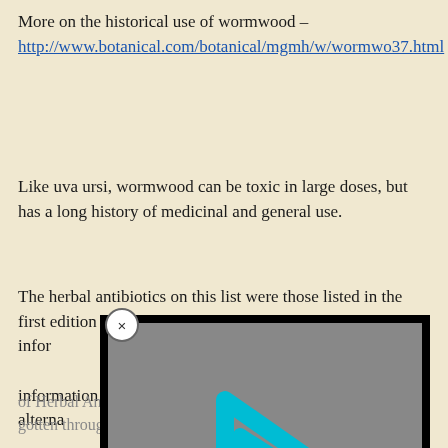More on the historical use of wormwood – http://www.botanical.com/botanical/mgmh/w/wormwo37.html
Like uva ursi, wormwood can be toxic in large doses, but has a long history of medicinal and general use.
The herbal antibiotics on this list were those listed in the first edition of Herbal Antibiotics. The material listed is for information purposes and is not meant to be used as a substitute for the place of a trained herbalist. Share this information with your physician and note that herbal alternatives should be used with a trained her...
[Figure (screenshot): Video player overlay showing a cyan/teal triangular play button logo on a gray background with black borders, with a close (X) button in the bottom right and a dismiss (×) circle button at top-left of overlay]
of Herbal Antibiotics that is on my reading list, but I haven't gotten through it yet.